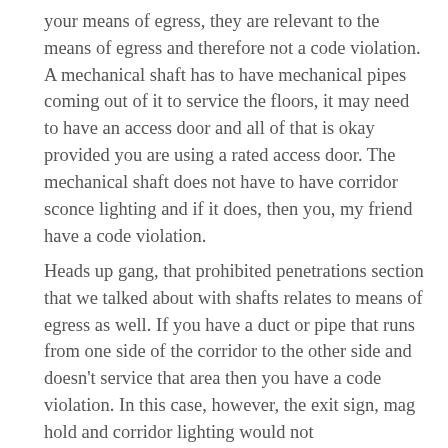your means of egress, they are relevant to the means of egress and therefore not a code violation. A mechanical shaft has to have mechanical pipes coming out of it to service the floors, it may need to have an access door and all of that is okay provided you are using a rated access door. The mechanical shaft does not have to have corridor sconce lighting and if it does, then you, my friend have a code violation.
Heads up gang, that prohibited penetrations section that we talked about with shafts relates to means of egress as well. If you have a duct or pipe that runs from one side of the corridor to the other side and doesn't service that area then you have a code violation. In this case, however, the exit sign, mag hold and corridor lighting would not